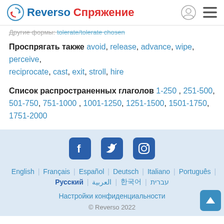Reverso Спряжение
Другие формы: tolerate/tolerate chosen
Проспрягать также avoid, release, advance, wipe, perceive, reciprocate, cast, exit, stroll, hire
Список распространенных глаголов 1-250 , 251-500, 501-750, 751-1000 , 1001-1250, 1251-1500, 1501-1750, 1751-2000
[Figure (illustration): Social media icons: Facebook, Twitter, Instagram]
English | Français | Español | Deutsch | Italiano | Português | Русский | العربية | 한국어 | עברית
Настройки конфиденциальности
© Reverso 2022